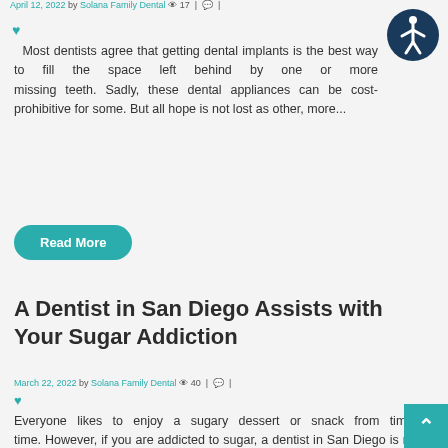April 12, 2022 by Solana Family Dental 👁 17 | 💬 |
[Figure (other): Teal accessibility icon (person in circle)]
Most dentists agree that getting dental implants is the best way to fill the space left behind by one or more missing teeth. Sadly, these dental appliances can be cost-prohibitive for some. But all hope is not lost as other, more...
Read More
A Dentist in San Diego Assists with Your Sugar Addiction
March 22, 2022 by Solana Family Dental 👁 40 | 💬 |
Everyone likes to enjoy a sugary dessert or snack from time to time. However, if you are addicted to sugar, a dentist in San Diego is ready to offer helpful tips so